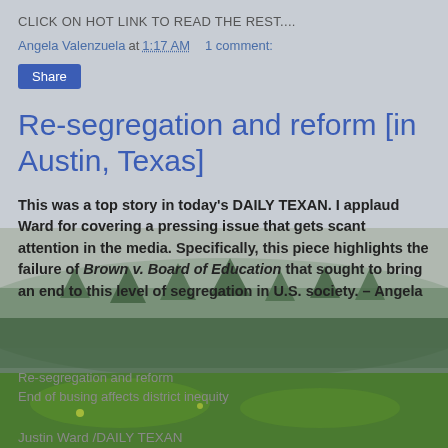CLICK ON HOT LINK TO READ THE REST....
Angela Valenzuela at 1:17 AM    1 comment:
Share
Re-segregation and reform [in Austin, Texas]
This was a top story in today's DAILY TEXAN. I applaud Ward for covering a pressing issue that gets scant attention in the media. Specifically, this piece highlights the failure of Brown v. Board of Education that sought to bring an end to this level of segregation in U.S. society. – Angela
Re-segregation and reform
End of busing affects district inequity
Justin Ward /DAILY TEXAN
[Figure (photo): Background landscape photo showing foggy trees and green hillside]